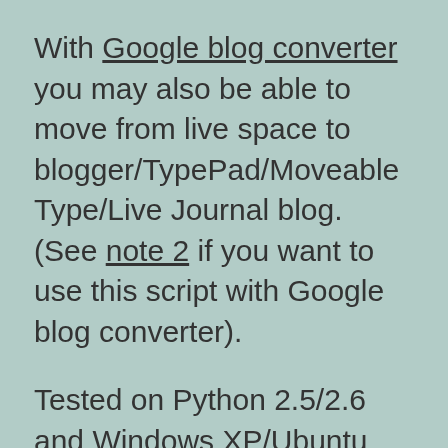With Google blog converter you may also be able to move from live space to blogger/TypePad/Moveable Type/Live Journal blog. (See note 2 if you want to use this script with Google blog converter).
Tested on Python 2.5/2.6 and Windows XP/Ubuntu Linux.
Based on the wonderful HTML parser library BeautifulSoup.
Hosted on Google Code, Source code svn is
" svn checkout http://live.space